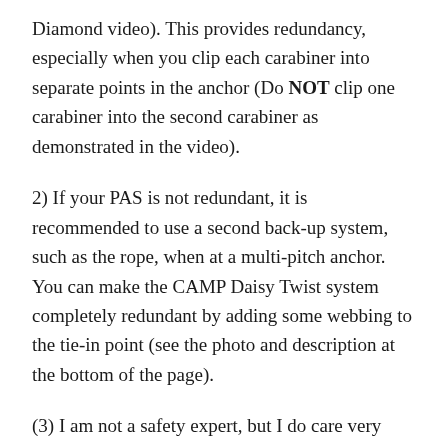Diamond video). This provides redundancy, especially when you clip each carabiner into separate points in the anchor (Do NOT clip one carabiner into the second carabiner as demonstrated in the video).
2) If your PAS is not redundant, it is recommended to use a second back-up system, such as the rope, when at a multi-pitch anchor. You can make the CAMP Daisy Twist system completely redundant by adding some webbing to the tie-in point (see the photo and description at the bottom of the page).
(3) I am not a safety expert, but I do care very much about safety and try to think carefully about and investigate the equipment that I use. I will always pick safety over weight savings, but I also try to find gear